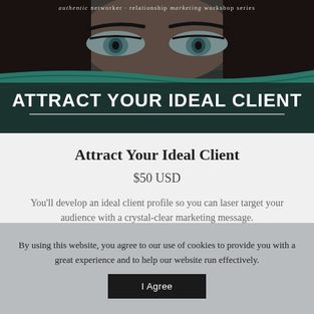authentic networker · relationship marketing workshop series
[Figure (photo): Close-up of a woman's eyes with dark hair and teal scarf/cloth covering lower face, with overlay text 'ATTRACT YOUR IDEAL CLIENT']
Attract Your Ideal Client
$50 USD
You'll develop an ideal client profile so you can laser target your audience with a crystal-clear marketing message.
By using this website, you agree to our use of cookies to provide you with a great experience and to help our website run effectively.